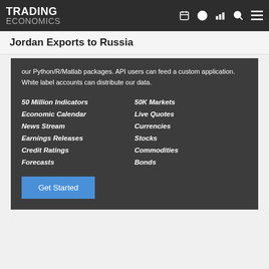TRADING ECONOMICS
Jordan Exports to Russia
our Python/R/Matlab packages. API users can feed a custom application. White label accounts can distribute our data.
50 Million Indicators
Economic Calendar
News Stream
Earnings Releases
Credit Ratings
Forecasts
50K Markets
Live Quotes
Currencies
Stocks
Commodities
Bonds
Get Started